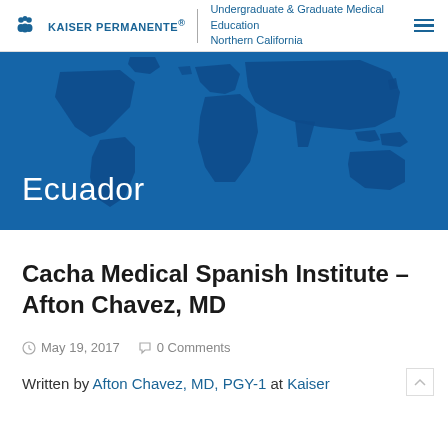KAISER PERMANENTE Undergraduate & Graduate Medical Education Northern California
[Figure (illustration): World map graphic on blue background with 'Ecuador' text overlay]
Cacha Medical Spanish Institute – Afton Chavez, MD
May 19, 2017   0 Comments
Written by Afton Chavez, MD, PGY-1 at Kaiser